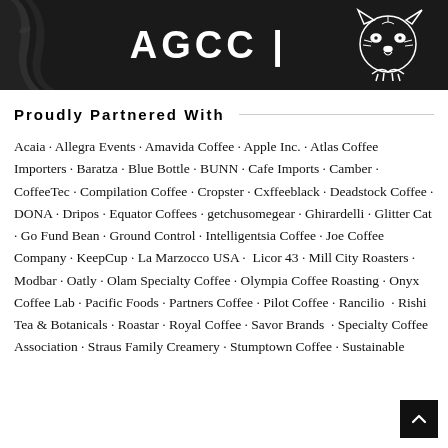[Figure (photo): Dark/black background banner image with 'AGCC |' text in white and a white line-art tiger illustration on the right side, plus a dark cable/strap on the left side.]
Proudly Partnered With
Acaia · Allegra Events · Amavida Coffee · Apple Inc. · Atlas Coffee Importers · Baratza · Blue Bottle · BUNN · Cafe Imports · Camber · CoffeeTec · Compilation Coffee · Cropster · Cxffeeblack · Deadstock Coffee · DONA · Dripos · Equator Coffees · getchusomegear · Ghirardelli · Glitter Cat · Go Fund Bean · Ground Control · Intelligentsia Coffee · Joe Coffee Company · KeepCup · La Marzocco USA ·  Licor 43 · Mill City Roasters · Modbar · Oatly · Olam Specialty Coffee · Olympia Coffee Roasting · Onyx Coffee Lab · Pacific Foods · Partners Coffee · Pilot Coffee · Rancilio  · Rishi Tea & Botanicals · Roastar · Royal Coffee · Savor Brands  · Specialty Coffee Association · Straus Family Creamery · Stumptown Coffee · Sustainable